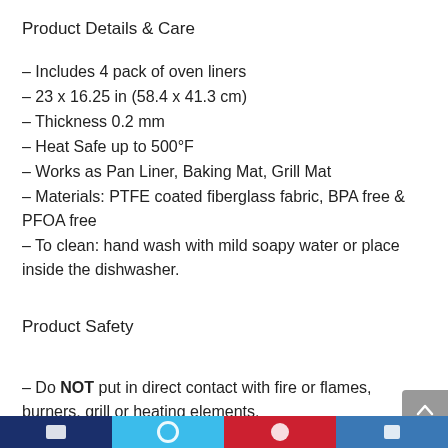Product Details & Care
– Includes 4 pack of oven liners
– 23 x 16.25 in (58.4 x 41.3 cm)
– Thickness 0.2 mm
– Heat Safe up to 500°F
– Works as Pan Liner, Baking Mat, Grill Mat
– Materials: PTFE coated fiberglass fabric, BPA free & PFOA free
– To clean: hand wash with mild soapy water or place inside the dishwasher.
Product Safety
– Do NOT put in direct contact with fire or flames, burners, grill or heating elements.